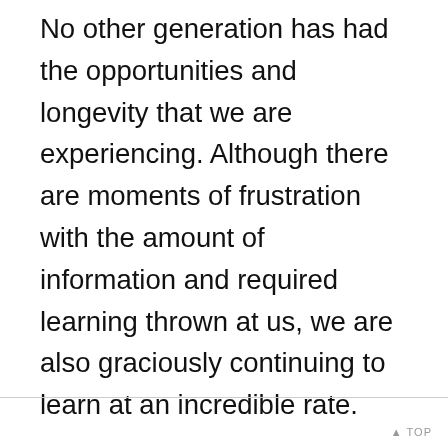No other generation has had the opportunities and longevity that we are experiencing. Although there are moments of frustration with the amount of information and required learning thrown at us, we are also graciously continuing to learn at an incredible rate.
It seems our world requires that in order to maintain our finances, communicate with business, organizations and family we must do it with ever-changing technology.
We take that challenge because we are an
▲ TOP